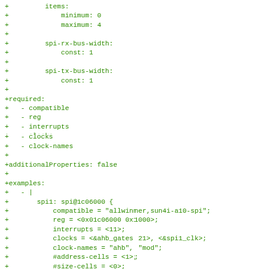+ items:
+             minimum: 0
+             maximum: 4
+
+         spi-rx-bus-width:
+             const: 1
+
+         spi-tx-bus-width:
+             const: 1
+
+required:
+   - compatible
+   - reg
+   - interrupts
+   - clocks
+   - clock-names
+
+additionalProperties: false
+
+examples:
+   - |
+       spi1: spi@1c06000 {
+           compatible = "allwinner,sun4i-a10-spi";
+           reg = <0x01c06000 0x1000>;
+           interrupts = <11>;
+           clocks = <&ahb_gates 21>, <&spi1_clk>;
+           clock-names = "ahb", "mod";
+           #address-cells = <1>;
+           #size-cells = <0>;
+       };